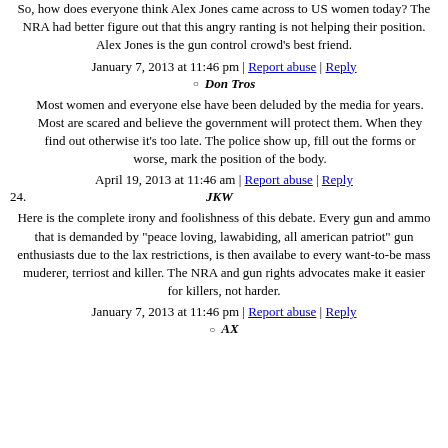So, how does everyone think Alex Jones came across to US women today? The NRA had better figure out that this angry ranting is not helping their position. Alex Jones is the gun control crowd's best friend.
January 7, 2013 at 11:46 pm | Report abuse | Reply
Don Tros
Most women and everyone else have been deluded by the media for years. Most are scared and believe the government will protect them. When they find out otherwise it's too late. The police show up, fill out the forms or worse, mark the position of the body.
April 19, 2013 at 11:46 am | Report abuse | Reply
JKW
Here is the complete irony and foolishness of this debate. Every gun and ammo that is demanded by "peace loving, lawabiding, all american patriot" gun enthusiasts due to the lax restrictions, is then availabe to every want-to-be mass muderer, terriost and killer. The NRA and gun rights advocates make it easier for killers, not harder.
January 7, 2013 at 11:46 pm | Report abuse | Reply
AX